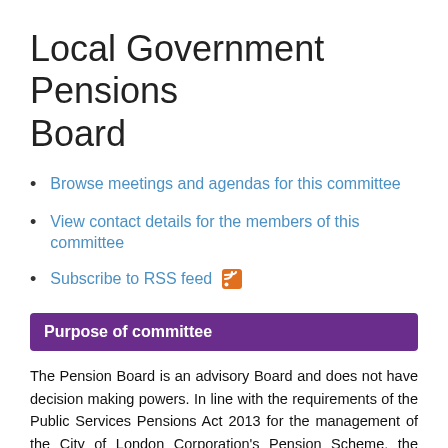Local Government Pensions Board
Browse meetings and agendas for this committee
View contact details for the members of this committee
Subscribe to RSS feed
Purpose of committee
The Pension Board is an advisory Board and does not have decision making powers. In line with the requirements of the Public Services Pensions Act 2013 for the management of the City of London Corporation's Pension Scheme, the Board is responsible for assisting the Scheme Manager (the City of London Corporation) in the following matters:
a) Securing compliance with the scheme regulations and other legislation relating to the governance and administration of the scheme and any statutory pension